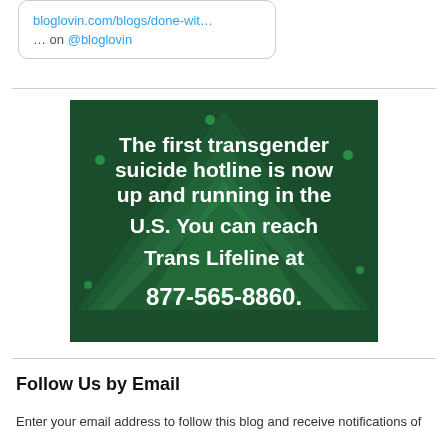bloglovin.com/blogs/done-wit… on @bloglovin
[Figure (infographic): Dark green background with triangle/chevron pattern. White bold text reads: 'The first transgender suicide hotline is now up and running in the U.S. You can reach Trans Lifeline at 877-565-8860.']
Follow Us by Email
Enter your email address to follow this blog and receive notifications of